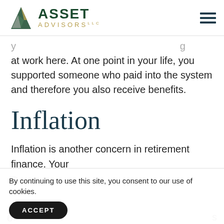ASSET ADVISORS LLC
at work here. At one point in your life, you supported someone who paid into the system and therefore you also receive benefits.
Inflation
Inflation is another concern in retirement finance. Your
By continuing to use this site, you consent to our use of cookies.